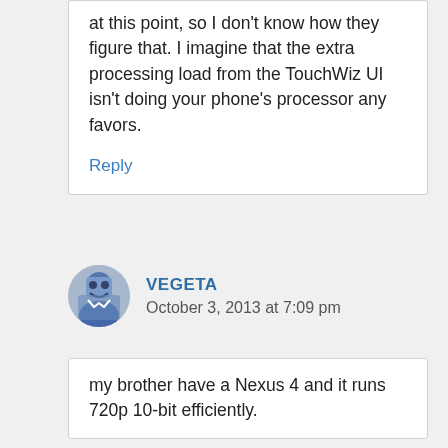at this point, so I don't know how they figure that. I imagine that the extra processing load from the TouchWiz UI isn't doing your phone's processor any favors.
Reply
VEGETA
October 3, 2013 at 7:09 pm
my brother have a Nexus 4 and it runs 720p 10-bit efficiently.